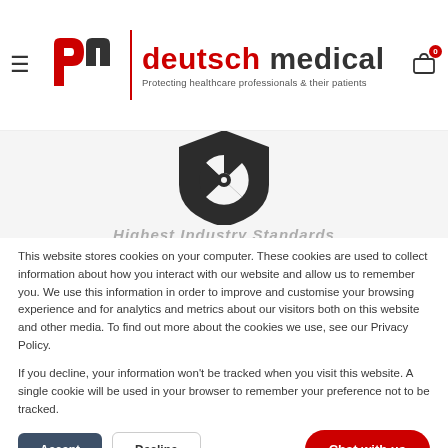[Figure (logo): Deutsch Medical logo with shield icon, brand name and tagline 'Protecting healthcare professionals & their patients']
[Figure (illustration): Radiation hazard shield icon in dark gray/black on light gray background, partially visible]
This website stores cookies on your computer. These cookies are used to collect information about how you interact with our website and allow us to remember you. We use this information in order to improve and customise your browsing experience and for analytics and metrics about our visitors both on this website and other media. To find out more about the cookies we use, see our Privacy Policy.
If you decline, your information won't be tracked when you visit this website. A single cookie will be used in your browser to remember your preference not to be tracked.
Accept
Decline
Chat with us